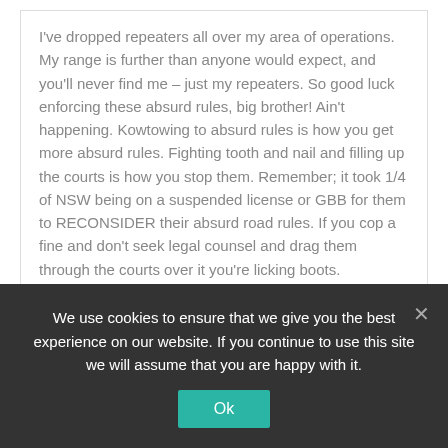I've dropped repeaters all over my area of operations. My range is further than anyone would expect, and you'll never find me – just my repeaters. So good luck enforcing these absurd rules, big brother! Ain't happening. Kowtowing to absurd rules is how you get more absurd rules. Fighting tooth and nail and filling up the courts is how you stop them. Remember; it took 1/4 of NSW being on a suspended license or GBB for them to RECONSIDER their absurd road rules. If you cop a fine and don't seek legal counsel and drag them through the courts over it you're licking boots.
Reply
desparky on June 5, 2022 at 7:28 pm
We use cookies to ensure that we give you the best experience on our website. If you continue to use this site we will assume that you are happy with it.